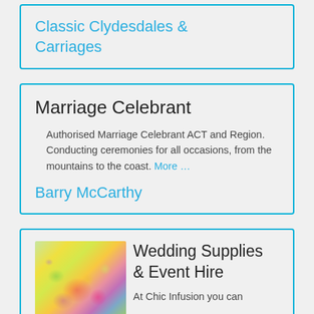Classic Clydesdales & Carriages
Marriage Celebrant
Authorised Marriage Celebrant ACT and Region. Conducting ceremonies for all occasions, from the mountains to the coast. More ...
Barry McCarthy
Wedding Supplies & Event Hire
At Chic Infusion you can enjoy shopping for all your wedding supplies and